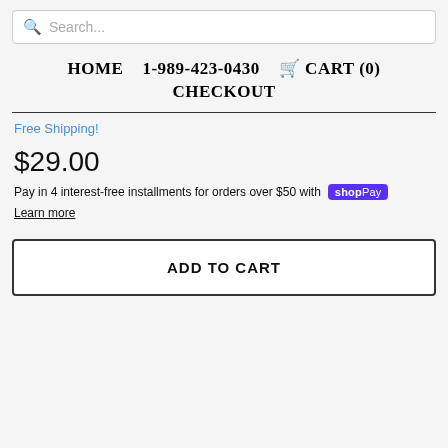Search...
HOME   1-989-423-0430   CART (0)   CHECKOUT
Free Shipping!
$29.00
Pay in 4 interest-free installments for orders over $50 with shop Pay
Learn more
ADD TO CART